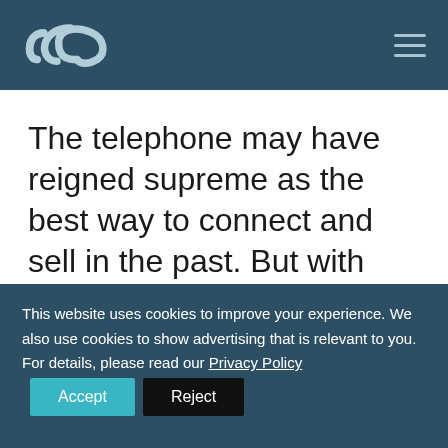[Logo: speech bubble icon] [Hamburger menu]
The telephone may have reigned supreme as the best way to connect and sell in the past. But with B2B digital selling leaders generating five times the growth of their peers, the power of social selling is undeniably something
This website uses cookies to improve your experience. We also use cookies to show advertising that is relevant to you. For details, please read our Privacy Policy Accept Reject